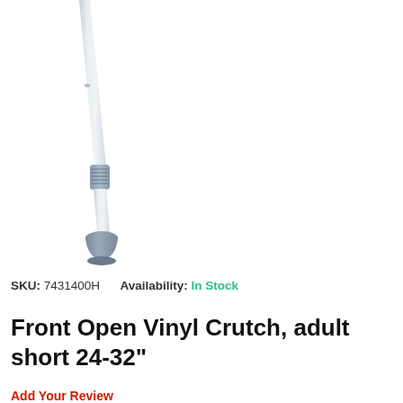[Figure (photo): A front open vinyl crutch shown vertically, with a light silver/grey adjustable aluminum shaft, textured adjustment joint, and a grey rubber tip at the bottom. The crutch is shown in isolation on a white background.]
SKU: 7431400H    Availability: In Stock
Front Open Vinyl Crutch, adult short 24-32"
Add Your Review